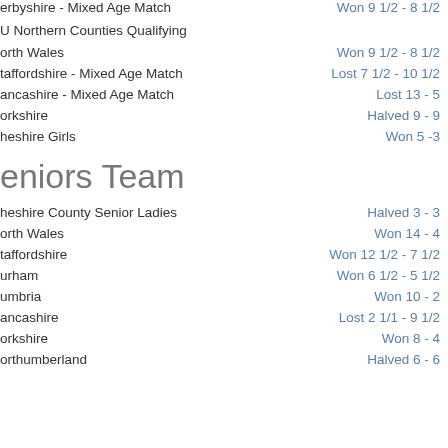erbyshire - Mixed Age Match | Won 9 1/2 - 8 1/2
U Northern Counties Qualifying
orth Wales | Won 9 1/2 - 8 1/2
taffordshire - Mixed Age Match | Lost 7 1/2 - 10 1/2
ancashire - Mixed Age Match | Lost 13 - 5
orkshire | Halved 9 - 9
heshire Girls | Won 5 -3
Seniors Team
heshire County Senior Ladies | Halved 3 - 3
orth Wales | Won 14 - 4
taffordshire | Won 12 1/2 - 7 1/2
urham | Won 6 1/2 - 5 1/2
umbria | Won 10 - 2
ancashire | Lost 2 1/1 - 9 1/2
orkshire | Won 8 - 4
orthumberland | Halved 6 - 6